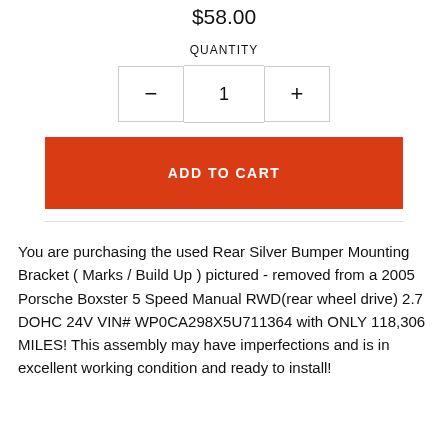$58.00
QUANTITY
1
ADD TO CART
You are purchasing the used Rear Silver Bumper Mounting Bracket ( Marks / Build Up ) pictured - removed from a 2005 Porsche Boxster 5 Speed Manual RWD(rear wheel drive) 2.7 DOHC 24V VIN# WP0CA298X5U711364 with ONLY 118,306 MILES! This assembly may have imperfections and is in excellent working condition and ready to install!